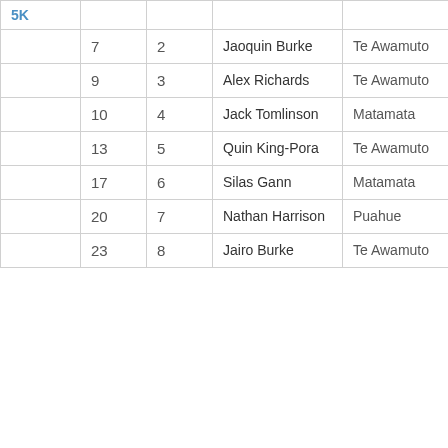|  |  |  |  |  |
| --- | --- | --- | --- | --- |
|  | 7 | 2 | Jaoquin Burke | Te Awamuto |
|  | 9 | 3 | Alex Richards | Te Awamuto |
|  | 10 | 4 | Jack Tomlinson | Matamata |
|  | 13 | 5 | Quin King-Pora | Te Awamuto |
|  | 17 | 6 | Silas Gann | Matamata |
|  | 20 | 7 | Nathan Harrison | Puahue |
|  | 23 | 8 | Jairo Burke | Te Awamuto |